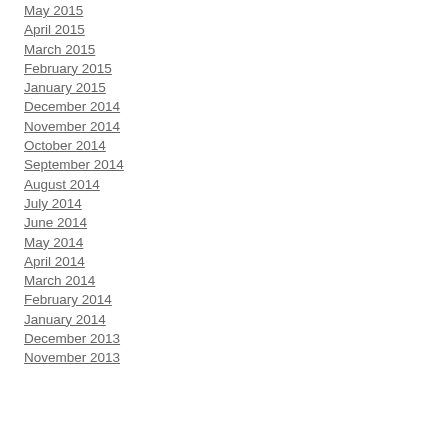May 2015
April 2015
March 2015
February 2015
January 2015
December 2014
November 2014
October 2014
September 2014
August 2014
July 2014
June 2014
May 2014
April 2014
March 2014
February 2014
January 2014
December 2013
November 2013